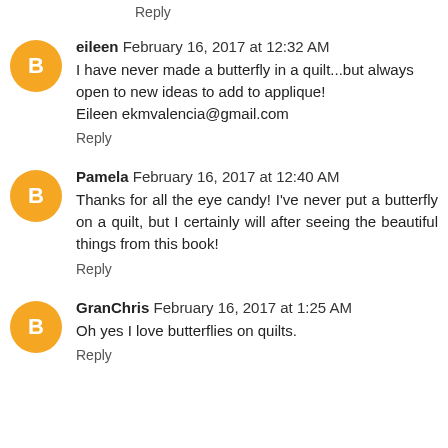Reply
eileen  February 16, 2017 at 12:32 AM
I have never made a butterfly in a quilt...but always open to new ideas to add to applique!
Eileen ekmvalencia@gmail.com
Reply
Pamela  February 16, 2017 at 12:40 AM
Thanks for all the eye candy! I've never put a butterfly on a quilt, but I certainly will after seeing the beautiful things from this book!
Reply
GranChris  February 16, 2017 at 1:25 AM
Oh yes I love butterflies on quilts.
Reply